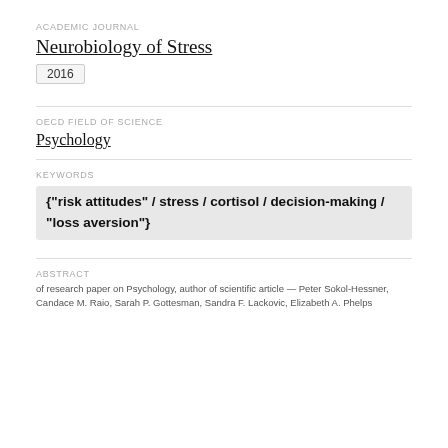ACADEMIC JOURNAL
Neurobiology of Stress
2016
OECD FIELD OF SCIENCE
Psychology
KEYWORDS
{"risk attitudes" / stress / cortisol / decision-making / "loss aversion"}
ABSTRACT
of research paper on Psychology, author of scientific article — Peter Sokol-Hessner, Candace M. Raio, Sarah P. Gottesman, Sandra F. Lackovic, Elizabeth A. Phelps